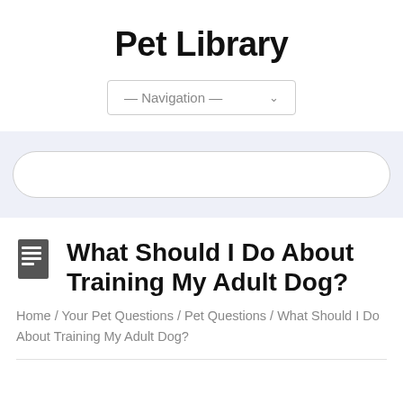Pet Library
[Figure (screenshot): Navigation dropdown selector with text '— Navigation —' and a chevron arrow]
[Figure (screenshot): Search bar with rounded pill shape on a light lavender/blue background]
What Should I Do About Training My Adult Dog?
Home / Your Pet Questions / Pet Questions / What Should I Do About Training My Adult Dog?